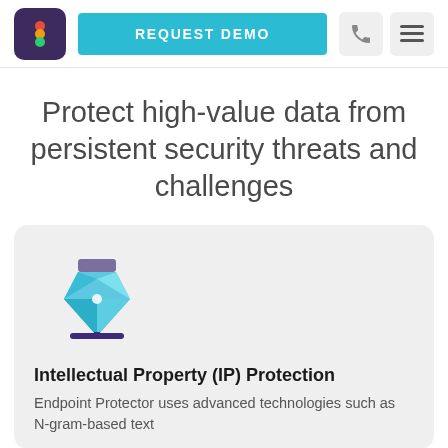REQUEST DEMO
Protect high-value data from persistent security threats and challenges
[Figure (illustration): Pen tool / intellectual property icon in teal/blue and purple colors on a light gray card background]
Intellectual Property (IP) Protection
Endpoint Protector uses advanced technologies such as N-gram-based text